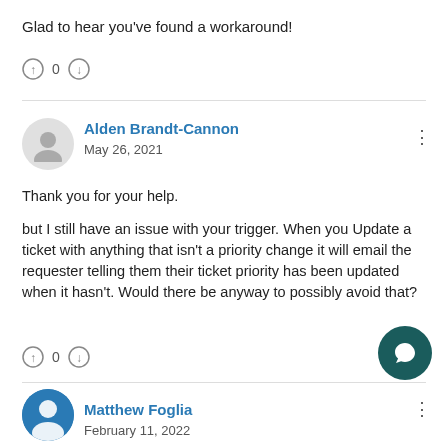Glad to hear you've found a workaround!
0
Alden Brandt-Cannon
May 26, 2021
Thank you for your help.

but I still have an issue with your trigger. When you Update a ticket with anything that isn't a priority change it will email the requester telling them their ticket priority has been updated when it hasn't. Would there be anyway to possibly avoid that?
0
Matthew Foglia
February 11, 2022